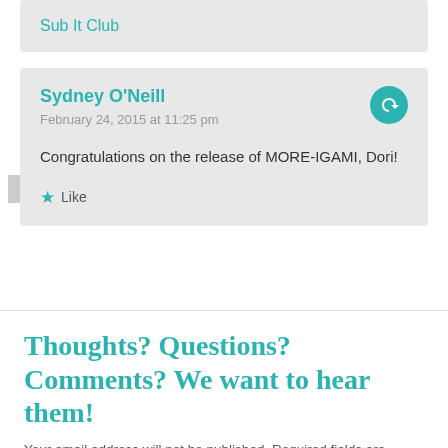Sub It Club
Sydney O'Neill
February 24, 2015 at 11:25 pm
Congratulations on the release of MORE-IGAMI, Dori!
Like
Thoughts? Questions? Comments? We want to hear them!
Your email address will not be published. Required fields are marked